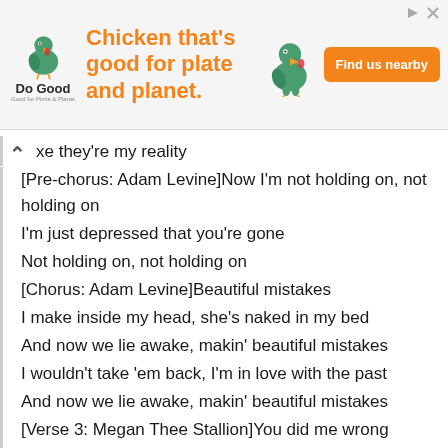[Figure (other): Advertisement banner for 'Do Good' chicken restaurant with orange 'Find us nearby' button and tagline 'Chicken that's good for plate and planet.']
xe they're my reality
[Pre-chorus: Adam Levine]Now I'm not holding on, not holding on
I'm just depressed that you're gone
Not holding on, not holding on
[Chorus: Adam Levine]Beautiful mistakes
I make inside my head, she's naked in my bed
And now we lie awake, makin' beautiful mistakes
I wouldn't take 'em back, I'm in love with the past
And now we lie awake, makin' beautiful mistakes
[Verse 3: Megan Thee Stallion]You did me wrong 'cause I let you (Let you)
Usually, I like my situations beneficial
Doin' something different, got me lookin' stupid (Damn)
The only way I'm comin' back to you is if you're dreaming, lucid (Hmm)